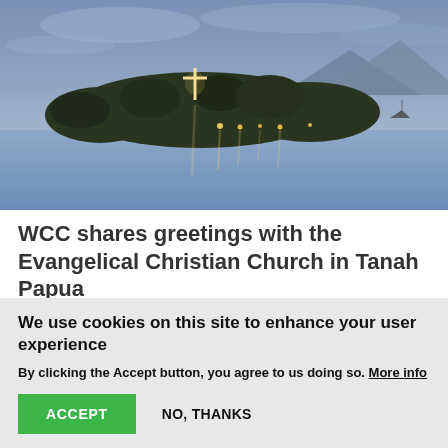[Figure (photo): Twilight photograph of an island with a illuminated cross and trees, reflected in calm water, mountains in background, moody blue-grey sky]
WCC shares greetings with the Evangelical Christian Church in Tanah Papua
World Council of Churches (WCC) acting general
We use cookies on this site to enhance your user experience
By clicking the Accept button, you agree to us doing so. More info